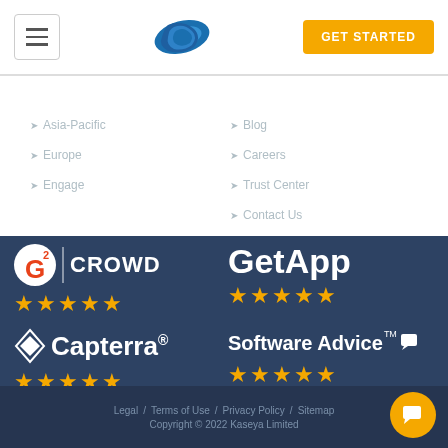Navigation header with hamburger menu, Kaseya logo, and GET STARTED button
Asia-Pacific
Europe
Engage
Blog
Careers
Trust Center
Contact Us
[Figure (logo): G2 Crowd logo with 5 stars rating]
[Figure (logo): GetApp logo with 5 stars rating]
[Figure (logo): Capterra logo with 5 stars rating]
[Figure (logo): Software Advice logo with 5 stars rating]
Legal / Terms of Use / Privacy Policy / Sitemap Copyright © 2022 Kaseya Limited